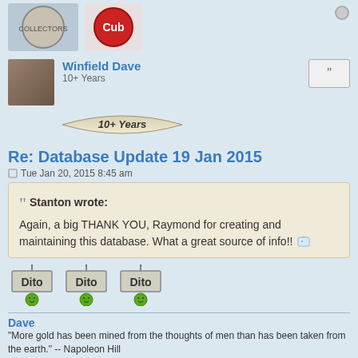[Figure (screenshot): Top section with two circular/logo images partially visible at top]
Winfield Dave
10+ Years
[Figure (illustration): 10+ Years banner badge illustration]
Re: Database Update 19 Jan 2015
Tue Jan 20, 2015 8:45 am
Stanton wrote:
Again, a big THANK YOU, Raymond for creating and maintaining this database. What a great source of info!!
[Figure (illustration): Three Dito emoticon signs with green smiley faces holding signs]
Dave
"More gold has been mined from the thoughts of men than has been taken from the earth." -- Napoleon Hill
RaymondDurban
Cub Pro